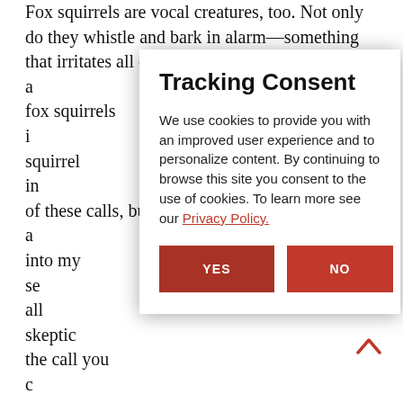Fox squirrels are vocal creatures, too. Not only do they whistle and bark in alarm—something that irritates all deer hunters—but they a... w fox squirrels i... ng squirrel in... s of these calls, but a... directly into my se... whistles all skeptic... of the call you c... nuggle, but be rea... e and dramatic.
Tracking Consent
We use cookies to provide you with an improved user experience and to personalize content. By continuing to browse this site you consent to the use of cookies. To learn more see our Privacy Policy.
Hunting w... American breeds lik... all of which we... ellent squirrel d... ch of their range it's easy to train these dogs, too. After enough sight chases, they'll learn to use their nose as well, and once your dog has figured out the game you can expect lots of action each
[Figure (other): YES and NO buttons for cookie consent modal]